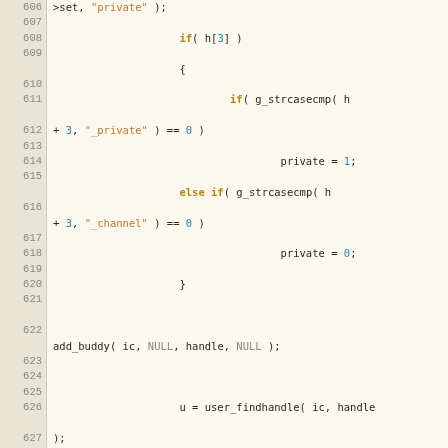[Figure (screenshot): Source code listing lines 606-630 of a C program. Shows IRC protocol handling code including string comparisons for '_private' and '_channel', user handle lookup, is_private flag setting, error message handling for unknown handles, strip_html conditional, and a while loop checking strlen.]